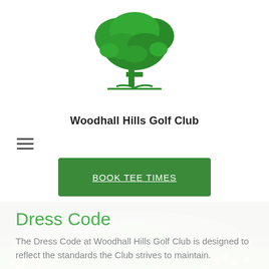[Figure (logo): Green tree logo for Woodhall Hills Golf Club]
Woodhall Hills Golf Club
[Figure (other): Hamburger/menu icon (three horizontal lines)]
[Figure (other): Green button with text BOOK TEE TIMES]
[Figure (photo): Photograph of golf course with green hills, yellow wildflowers, and a pathway]
Dress Code
The Dress Code at Woodhall Hills Golf Club is designed to reflect the standards the Club strives to maintain.